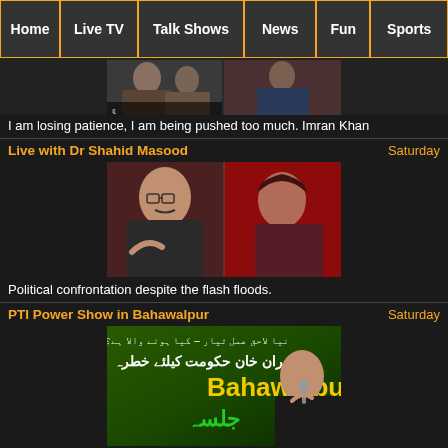Home | Live TV | Talk Shows | News | Fun | Sports
[Figure (screenshot): TV show thumbnail showing talk show hosts]
I am losing patience, I am being pushed too much. Imran Khan
Live with Dr Shahid Masood
Saturday
[Figure (photo): Dr Shahid Masood and female anchor on news show]
Political confrontation despite the flash floods.
PTI Power Show in Bahawalpur
Saturday
[Figure (screenshot): Imran Khan PTI Bahawalpur Jalsa poster with Urdu text]
Imran Khan addressing PTI Jalsa in Bahawalpur.
Aaj Rana Mubashir Kay Sath
Saturday
[Figure (screenshot): Aaj TV show thumbnail]